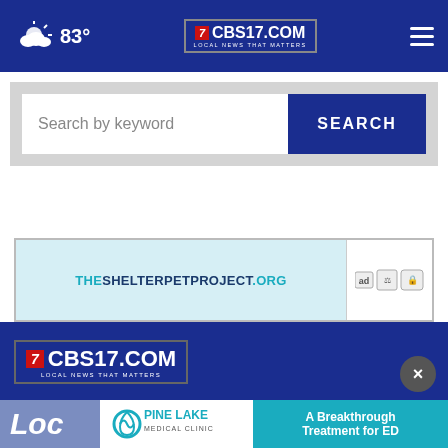CBS17.COM - Local News That Matters | 83°
[Figure (screenshot): Search bar with 'Search by keyword' placeholder and blue SEARCH button]
[Figure (infographic): Advertisement banner: THESHELTERPETPROJECT.ORG]
[Figure (logo): CBS17.COM Local News That Matters logo in footer]
[Figure (screenshot): Pine Lake Medical Clinic advertisement: A Breakthrough Treatment for ED]
Loc